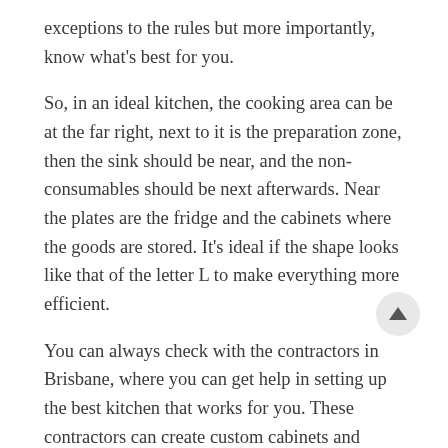exceptions to the rules but more importantly, know what's best for you.
So, in an ideal kitchen, the cooking area can be at the far right, next to it is the preparation zone, then the sink should be near, and the non-consumables should be next afterwards. Near the plates are the fridge and the cabinets where the goods are stored. It's ideal if the shape looks like that of the letter L to make everything more efficient.
You can always check with the contractors in Brisbane, where you can get help in setting up the best kitchen that works for you. These contractors can create custom cabinets and furniture that are durable and resistant to mold and mildew.
In other homes, the owner's personal style and how